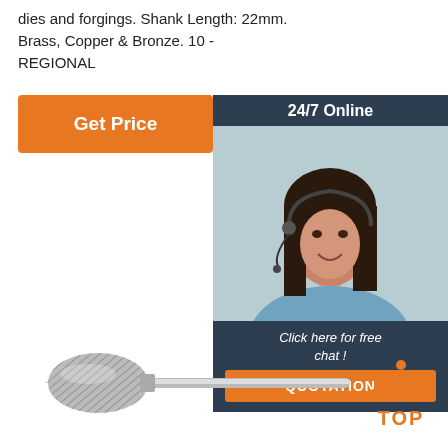dies and forgings. Shank Length: 22mm. Brass, Copper & Bronze. 10 - REGIONAL
...
[Figure (other): Orange 'Get Price' button]
[Figure (other): 24/7 Online chat widget with female customer service representative photo and orange QUOTATION button]
[Figure (other): Carbide burr rotary bit tool with pointed tip on long shank]
[Figure (logo): TOP badge with orange dots arranged in triangle pattern above bold orange TOP text]